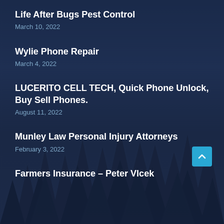Life After Bugs Pest Control
March 10, 2022
Wylie Phone Repair
March 4, 2022
LUCERITO CELL TECH, Quick Phone Unlock, Buy Sell Phones.
August 11, 2022
Munley Law Personal Injury Attorneys
February 3, 2022
Farmers Insurance – Peter Vlcek